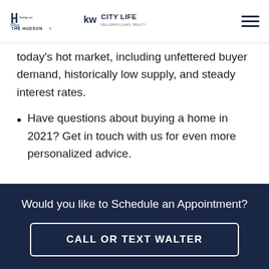Living on The Hudson | KW City Life Keller Williams Realty
today's hot market, including unfettered buyer demand, historically low supply, and steady interest rates.
Have questions about buying a home in 2021? Get in touch with us for even more personalized advice.
3 Factors That Make 2021's Real
Would you like to Schedule an Appointment?
CALL OR TEXT WALTER